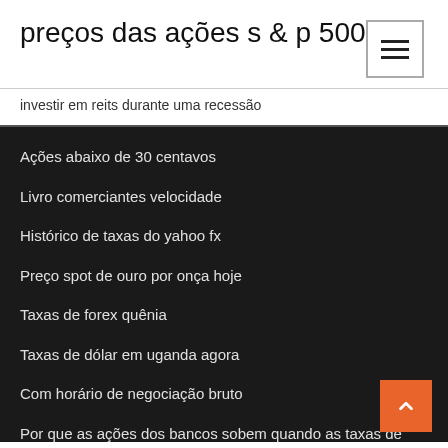preços das ações s & p 500
investir em reits durante uma recessão
Ações abaixo de 30 centavos
Livro comerciantes velocidade
Histórico de taxas do yahoo fx
Preço spot de ouro por onça hoje
Taxas de forex quênia
Taxas de dólar em uganda agora
Com horário de negociação bruto
Por que as ações dos bancos sobem quando as taxas de juros sobem
Pmi trading limited irlanda